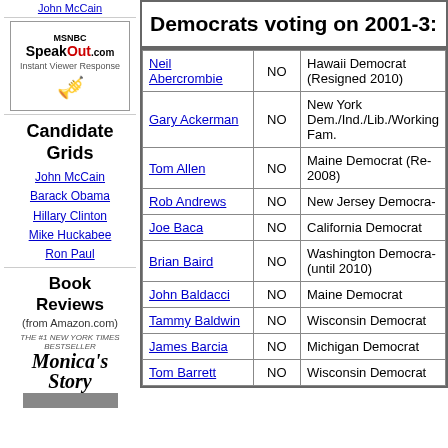John McCain
[Figure (logo): MSNBC SpeakOut.com - Instant Viewer Response logo with figure holding megaphone]
Candidate Grids
John McCain
Barack Obama
Hillary Clinton
Mike Huckabee
Ron Paul
Book Reviews
(from Amazon.com)
[Figure (photo): Book cover for Monica's Story]
| Name | Vote | Party/Notes |
| --- | --- | --- |
| Neil Abercrombie | NO | Hawaii Democrat (Resigned 2010) |
| Gary Ackerman | NO | New York Dem./Ind./Lib./Working Fam. |
| Tom Allen | NO | Maine Democrat (Re- 2008) |
| Rob Andrews | NO | New Jersey Democra- |
| Joe Baca | NO | California Democrat |
| Brian Baird | NO | Washington Democra- (until 2010) |
| John Baldacci | NO | Maine Democrat |
| Tammy Baldwin | NO | Wisconsin Democrat |
| James Barcia | NO | Michigan Democrat |
| Tom Barrett | NO | Wisconsin Democrat |
Democrats voting on 2001-3